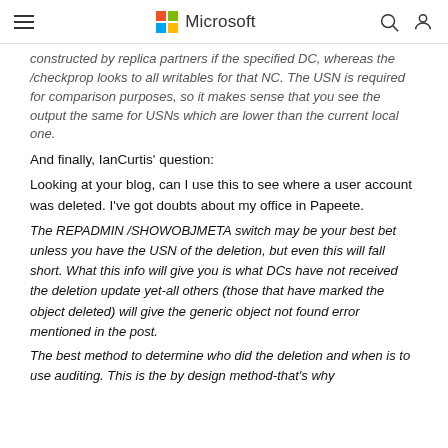Microsoft
constructed by replica partners if the specified DC, whereas the /checkprop looks to all writables for that NC.  The USN is required for comparison purposes, so it makes sense that you see the output the same for USNs which are lower than the current local one.
And finally, IanCurtis' question:
Looking at your blog, can I use this to see where a user account was deleted.  I've got doubts about my office in Papeete.
The REPADMIN /SHOWOBJMETA switch may be your best bet unless you have the USN of the deletion, but even this will fall short.  What this info will give you is what DCs have not received the deletion update yet-all others (those that have marked the object deleted) will give the generic object not found error mentioned in the post.
The best method to determine who did the deletion and when is to use auditing.  This is the by design method-that's why